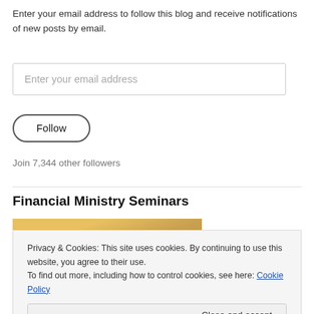Enter your email address to follow this blog and receive notifications of new posts by email.
[Figure (screenshot): Email input field with placeholder text 'Enter your email address']
[Figure (screenshot): Follow button with rounded border]
Join 7,344 other followers
Financial Ministry Seminars
[Figure (photo): Partial photo showing golden/yellow tones at top and dark clothing at bottom]
Privacy & Cookies: This site uses cookies. By continuing to use this website, you agree to their use.
To find out more, including how to control cookies, see here: Cookie Policy
[Figure (screenshot): Close and accept button]